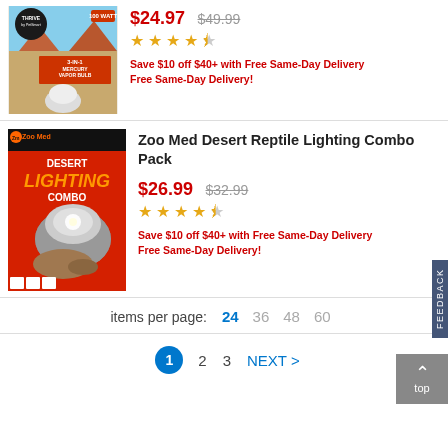[Figure (photo): Thrive 3-in-1 Mercury Vapor Bulb 100 watt product packaging, orange desert theme with lizard]
$24.97  $49.99
★★★★½
Save $10 off $40+ with Free Same-Day Delivery
Free Same-Day Delivery!
[Figure (photo): Zoo Med Desert Lighting Combo box with metal dome lamp and lizard on rock, red/black packaging]
Zoo Med Desert Reptile Lighting Combo Pack
$26.99  $32.99
★★★★½
Save $10 off $40+ with Free Same-Day Delivery
Free Same-Day Delivery!
items per page:  24  36  48  60
1  2  3  NEXT >